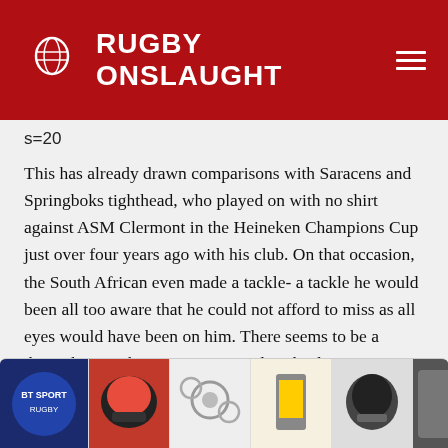RUGBY ONSLAUGHT
s=20
This has already drawn comparisons with Saracens and Springboks tighthead, who played on with no shirt against ASM Clermont in the Heineken Champions Cup just over four years ago with his club. On that occasion, the South African even made a tackle- a tackle he would been all too aware that he could not afford to miss as all eyes would have been on him. There seems to be a theme here with props opting to play shirtless...
[Figure (other): Advertisement bar with helmet and gear product images, close button, play/close/twitter icons, and PSE logo]